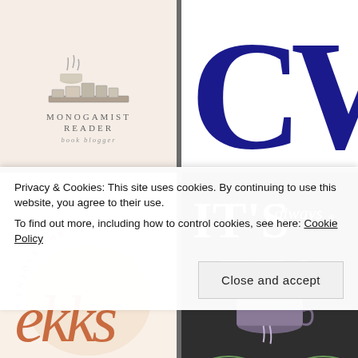[Figure (logo): Monogamist Reader book blogger logo with illustrated books and teacup on beige background]
[Figure (logo): CW monogram in dark navy blue serif letters on white background]
[Figure (logo): Enjoys the ekks script logo in terracotta/orange on cream background]
[Figure (illustration): Chalkboard art: It's always Tea Time with illustrated teacup and floral decorations on dark background]
[Figure (photo): Partially visible photo bottom-left on green background]
[Figure (photo): Partially visible photo bottom-right on light peach background]
Privacy & Cookies: This site uses cookies. By continuing to use this website, you agree to their use.
To find out more, including how to control cookies, see here: Cookie Policy
Close and accept